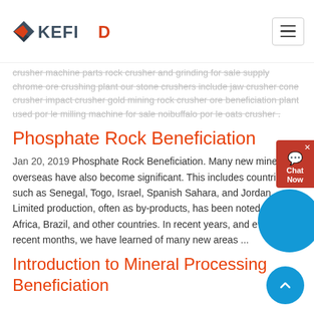KEFID
crusher machine parts rock crusher and grinding for sale supply chrome ore crushing plant our stone crushers include jaw crusher cone crusher impact crusher gold mining rock crusher ore beneficiation plant used por le milling machine for sale noibuffalo por le oats crusher .
Phosphate Rock Beneficiation
Jan 20, 2019  Phosphate Rock Beneficiation. Many new mines overseas have also become significant. This includes countries such as Senegal, Togo, Israel, Spanish Sahara, and Jordan. Limited production, often as by-products, has been noted in South Africa, Brazil, and other countries. In recent years, and even recent months, we have learned of many new areas ...
Introduction to Mineral Processing Beneficiation